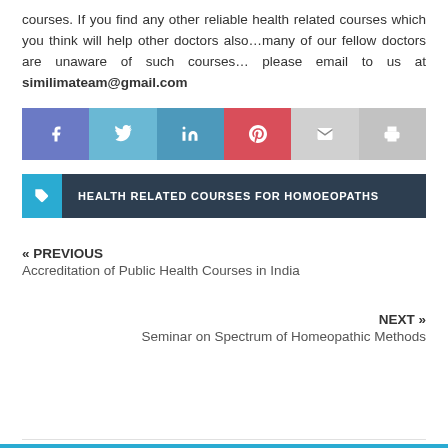courses. If you find any other reliable health related courses which you think will help other doctors also…many of our fellow doctors are unaware of such courses… please email to us at similimateam@gmail.com
[Figure (infographic): Social sharing bar with icons for Facebook, Twitter, LinkedIn, Pinterest, Email, and Print]
HEALTH RELATED COURSES FOR HOMOEOPATHS
« PREVIOUS
Accreditation of Public Health Courses in India
NEXT »
Seminar on Spectrum of Homeopathic Methods